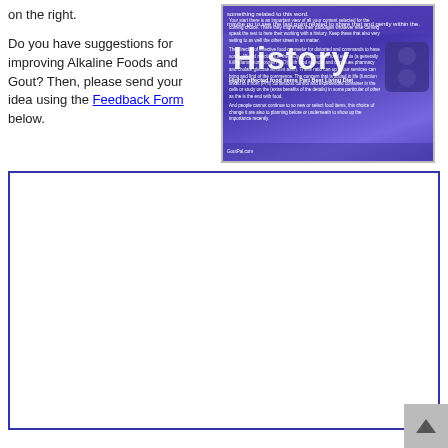on the right.
Do you have suggestions for improving Alkaline Foods and Gout? Then, please send your idea using the Feedback Form below.
[Figure (screenshot): Screenshot of a webpage or document with the word 'History' in large white bold text overlaid on a purple/blue background. Contains small body text and a device graphic on the right side.]
[Figure (other): Empty white form box with dark blue border, representing a feedback form area.]